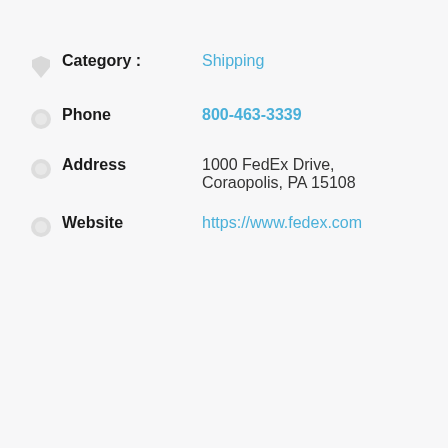Category : Shipping
Phone 800-463-3339
Address 1000 FedEx Drive, Coraopolis, PA 15108
Website https://www.fedex.com